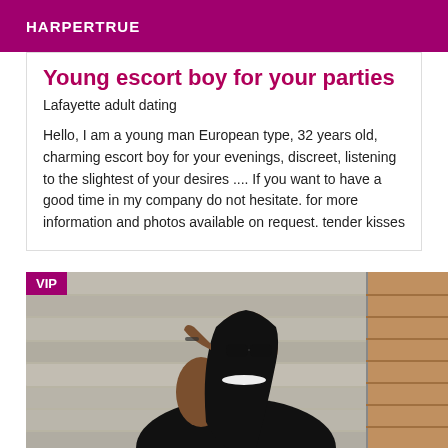HARPERTRUE
Young escort boy for your parties
Lafayette adult dating
Hello, I am a young man European type, 32 years old, charming escort boy for your evenings, discreet, listening to the slightest of your desires .... If you want to have a good time in my company do not hesitate. for more information and photos available on request. tender kisses
[Figure (photo): Woman with long dark hair and sunglasses leaning against a stone wall, wearing dark clothing and a white necklace, with a VIP badge overlay in the top-left corner]